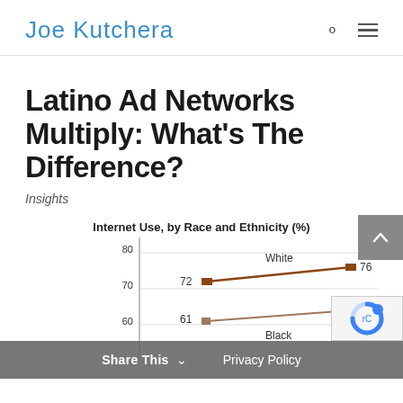Joe Kutchera
Latino Ad Networks Multiply: What's The Difference?
Insights
[Figure (line-chart): Internet Use, by Race and Ethnicity (%)]